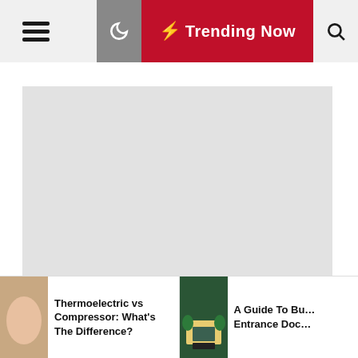Navigation bar with hamburger menu, moon/dark mode icon, Trending Now button, and search icon
[Figure (other): Large light gray advertisement or image placeholder rectangle]
[Figure (photo): Thumbnail image showing a hand/skin-toned object for Thermoelectric vs Compressor article]
Thermoelectric vs Compressor: What's The Difference?
[Figure (photo): Thumbnail image showing a door mat / entrance with green plants for A Guide To Buying Entrance Door article]
A Guide To Bu… Entrance Doc…